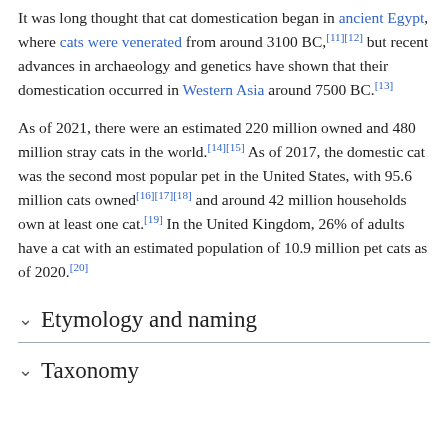It was long thought that cat domestication began in ancient Egypt, where cats were venerated from around 3100 BC,[11][12] but recent advances in archaeology and genetics have shown that their domestication occurred in Western Asia around 7500 BC.[13]
As of 2021, there were an estimated 220 million owned and 480 million stray cats in the world.[14][15] As of 2017, the domestic cat was the second most popular pet in the United States, with 95.6 million cats owned[16][17][18] and around 42 million households own at least one cat.[19] In the United Kingdom, 26% of adults have a cat with an estimated population of 10.9 million pet cats as of 2020.[20]
Etymology and naming
Taxonomy